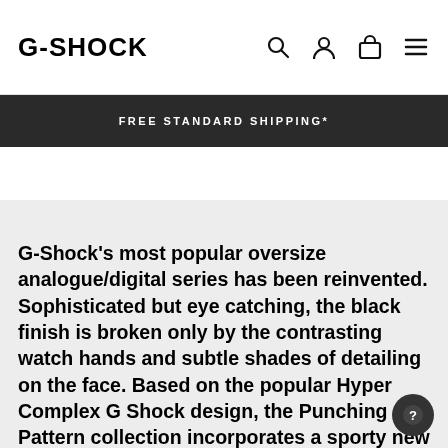G-SHOCK
FREE STANDARD SHIPPING*
G-Shock's most popular oversize analogue/digital series has been reinvented. Sophisticated but eye catching, the black finish is broken only by the contrasting watch hands and subtle shades of detailing on the face. Based on the popular Hyper Complex G Shock design, the Punching Pattern collection incorporates a sporty new strap design. Based